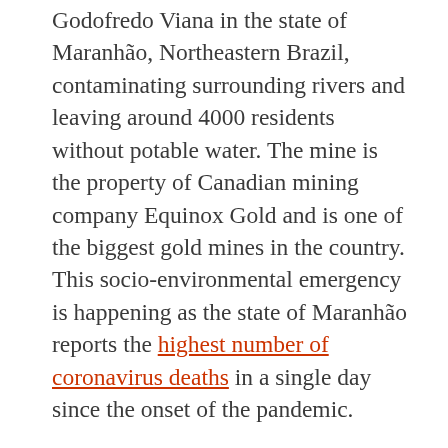Godofredo Viana in the state of Maranhão, Northeastern Brazil, contaminating surrounding rivers and leaving around 4000 residents without potable water. The mine is the property of Canadian mining company Equinox Gold and is one of the biggest gold mines in the country. This socio-environmental emergency is happening as the state of Maranhão reports the highest number of coronavirus deaths in a single day since the onset of the pandemic.
Videos circulated by MAB (the Movement of People Affected by Dams) on social media of the aftermath of the tailings dam disaster show areas covered in mud near the Aurizona community. Families affected demand an urgent potable water supply. The company met with members of the community on the weekend of March 27th and promised to provide drinking...